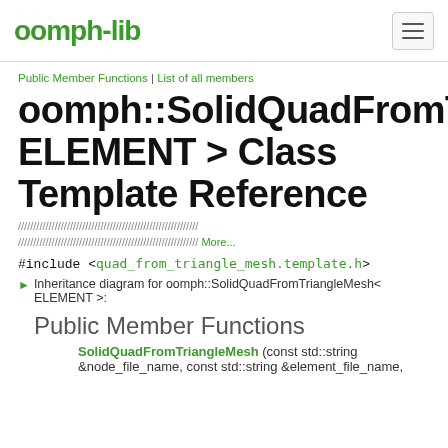oomph-lib
Public Member Functions | List of all members
oomph::SolidQuadFromTriangleMesh< ELEMENT > Class Template Reference
////////////////////////////////////////////////////////////////////////// ////////////////////////////////////////////////////////////////////////// More...
#include <quad_from_triangle_mesh.template.h>
Inheritance diagram for oomph::SolidQuadFromTriangleMesh< ELEMENT >:
Public Member Functions
SolidQuadFromTriangleMesh (const std::string &node_file_name, const std::string &element_file_name,